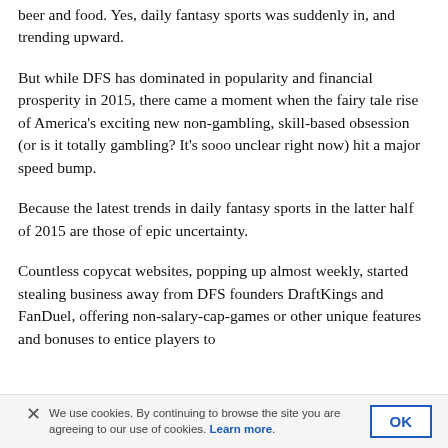beer and food. Yes, daily fantasy sports was suddenly in, and trending upward.
But while DFS has dominated in popularity and financial prosperity in 2015, there came a moment when the fairy tale rise of America's exciting new non-gambling, skill-based obsession (or is it totally gambling? It's sooo unclear right now) hit a major speed bump.
Because the latest trends in daily fantasy sports in the latter half of 2015 are those of epic uncertainty.
Countless copycat websites, popping up almost weekly, started stealing business away from DFS founders DraftKings and FanDuel, offering non-salary-cap-games or other unique features and bonuses to entice players to
We use cookies. By continuing to browse the site you are agreeing to our use of cookies. Learn more.